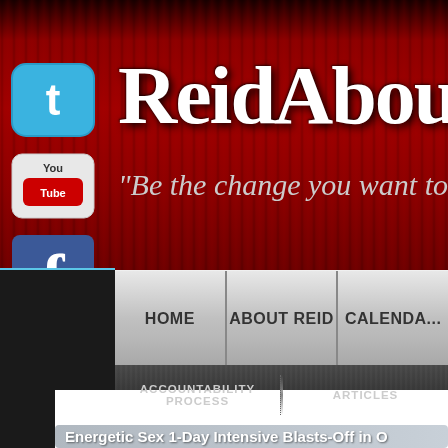[Figure (screenshot): Website header with dark red background showing ReidAboutSe... site title in large white serif font, tagline 'Be the change you want to s...' in italic gray, social media icons (Twitter, YouTube, Facebook) on left side]
ReidAboutSe...
"Be the change you want to s..."
HOME
ABOUT REID
CALENDA...
ACCOUNTABILITY PROCESS
ARTICLES
Energetic Sex 1-Day Intensive Blasts-Off in O...